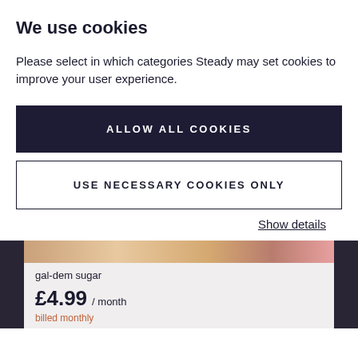We use cookies
Please select in which categories Steady may set cookies to improve your user experience.
ALLOW ALL COOKIES
USE NECESSARY COOKIES ONLY
Show details
gal-dem sugar
£4.99 / month
billed monthly